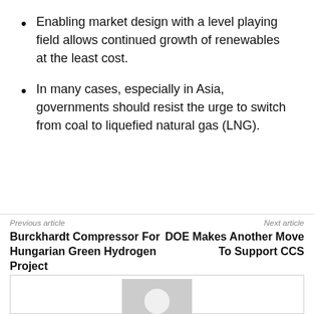Enabling market design with a level playing field allows continued growth of renewables at the least cost.
In many cases, especially in Asia, governments should resist the urge to switch from coal to liquefied natural gas (LNG).
Previous article
Next article
Burckhardt Compressor For Hungarian Green Hydrogen Project
DOE Makes Another Move To Support CCS
[Figure (photo): Placeholder image with gray background and white circle icon]